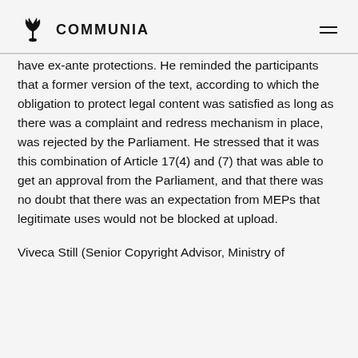COMMUNIA
have ex-ante protections. He reminded the participants that a former version of the text, according to which the obligation to protect legal content was satisfied as long as there was a complaint and redress mechanism in place, was rejected by the Parliament. He stressed that it was this combination of Article 17(4) and (7) that was able to get an approval from the Parliament, and that there was no doubt that there was an expectation from MEPs that legitimate uses would not be blocked at upload.
Viveca Still (Senior Copyright Advisor, Ministry of